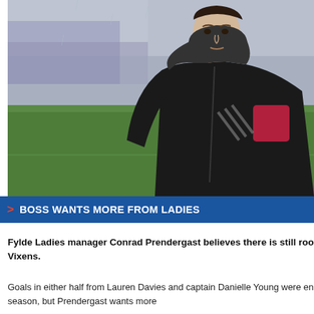[Figure (photo): Photo of Fylde Ladies manager Conrad Prendergast wearing a black Adidas hoodie with a club badge, standing on or near a football pitch. Background shows blurred stands and green grass.]
> BOSS WANTS MORE FROM LADIES
Fylde Ladies manager Conrad Prendergast believes there is still roo... victory over Guiseley Vixens.
Goals in either half from Lauren Davies and captain Danielle Young were... the new FA Women's Premier League season, but Prendergast wants mo...